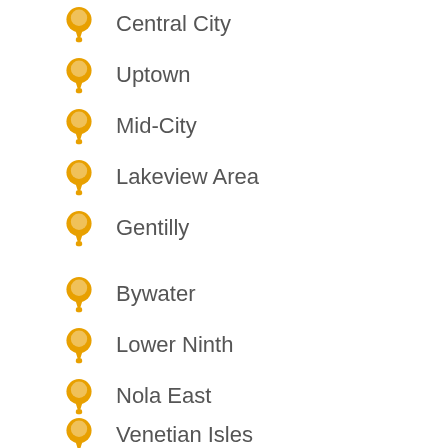Central City
Uptown
Mid-City
Lakeview Area
Gentilly
Bywater
Lower Ninth
Nola East
Venetian Isles
Algiers